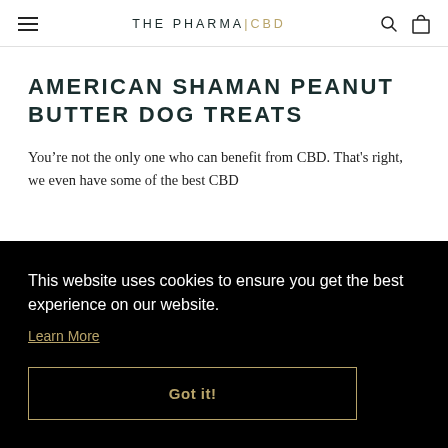THE PHARMA|CBD
AMERICAN SHAMAN PEANUT BUTTER DOG TREATS
You’re not the only one who can benefit from CBD. That's right, we even have some of the best CBD …pains …only …ling
This website uses cookies to ensure you get the best experience on our website.
Learn More
Got it!